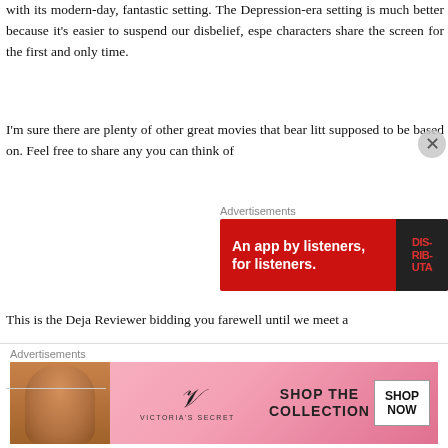with its modern-day, fantastic setting. The Depression-era setting is much better because it's easier to suspend our disbelief, especially when the characters share the screen for the first and only time.
I'm sure there are plenty of other great movies that bear little resemblance to the stories they're supposed to be based on. Feel free to share any you can think of.
[Figure (screenshot): Advertisement banner: red background with text 'An app by listeners, for listeners.' and a phone image with 'Disturbed' app branding]
This is the Deja Reviewer bidding you farewell until we meet again.
All images are the copyright of their respective owners.
[Figure (other): Star rating icons (4.5 stars) and social share button]
[Figure (screenshot): Victoria's Secret advertisement: pink background with model, text 'SHOP THE COLLECTION', 'SHOP NOW' button, and Victoria's Secret logo]